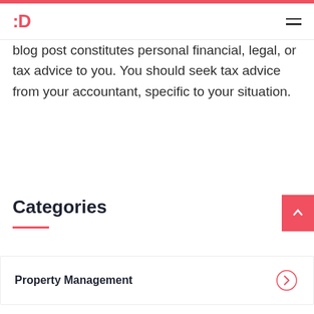:D
blog post constitutes personal financial, legal, or tax advice to you. You should seek tax advice from your accountant, specific to your situation.
Categories
Property Management